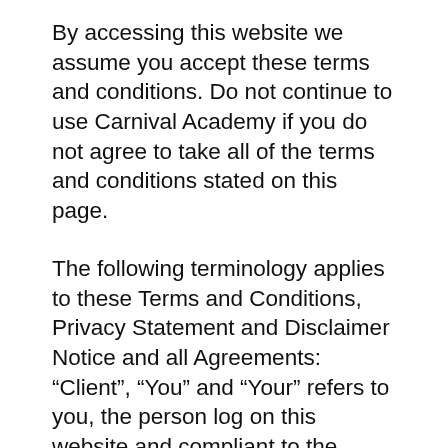By accessing this website we assume you accept these terms and conditions. Do not continue to use Carnival Academy if you do not agree to take all of the terms and conditions stated on this page.
The following terminology applies to these Terms and Conditions, Privacy Statement and Disclaimer Notice and all Agreements: “Client”, “You” and “Your” refers to you, the person log on this website and compliant to the Company’s terms and conditions. “The Company”, “Ourselves”, “We”, “Our” and “Us”, refers to our Company. “Party”, “Parties”, or “Us”, refers to both the Client and ourselves. All terms refer to the offer, acceptance and consideration of payment